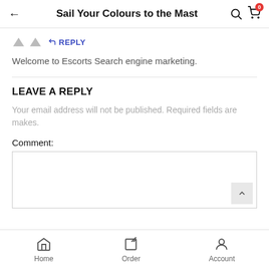Sail Your Colours to the Mast
REPLY
Welcome to Escorts Search engine marketing.
LEAVE A REPLY
Your email address will not be published. Required fields are makes.
Comment:
Home  Order  Account